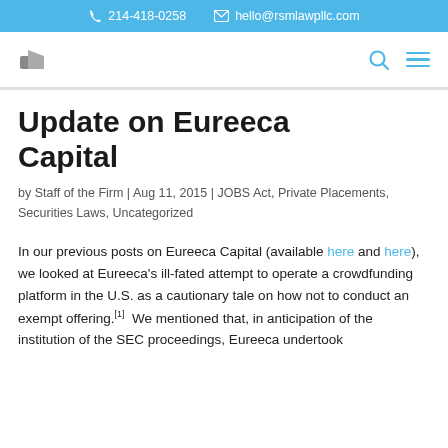📞 214-418-0258   ✉ hello@rsmlawpllc.com
[Figure (logo): RSM Law PLLC logo mark in the navigation bar with search and menu icons]
Update on Eureeca Capital
by Staff of the Firm | Aug 11, 2015 | JOBS Act, Private Placements, Securities Laws, Uncategorized
In our previous posts on Eureeca Capital (available here and here), we looked at Eureeca's ill-fated attempt to operate a crowdfunding platform in the U.S. as a cautionary tale on how not to conduct an exempt offering.[1]  We mentioned that, in anticipation of the institution of the SEC proceedings, Eureeca undertook